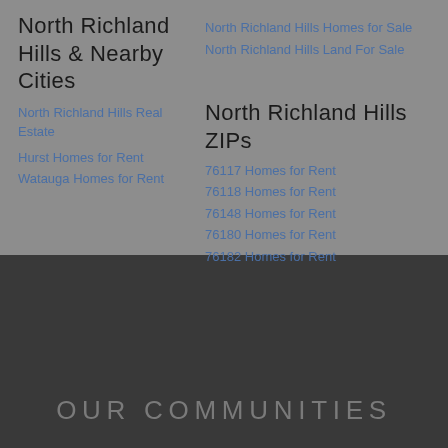North Richland Hills & Nearby Cities
North Richland Hills Real Estate
Hurst Homes for Rent
Watauga Homes for Rent
North Richland Hills Homes for Sale
North Richland Hills Land For Sale
North Richland Hills ZIPs
76117 Homes for Rent
76118 Homes for Rent
76148 Homes for Rent
76180 Homes for Rent
76182 Homes for Rent
OUR COMMUNITIES